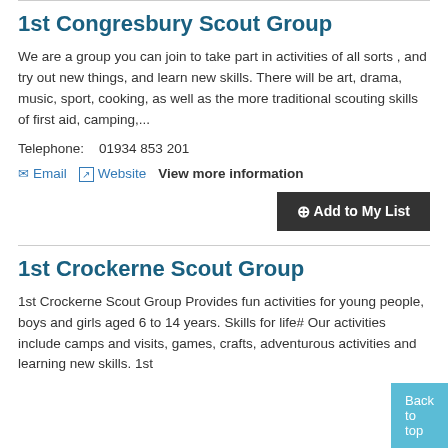1st Congresbury Scout Group
We are a group you can join to take part in activities of all sorts , and try out new things, and learn new skills. There will be art, drama, music, sport, cooking, as well as the more traditional scouting skills of first aid, camping,...
Telephone:    01934 853 201
✉ Email  ↗ Website  View more information
⊕Add to My List
1st Crockerne Scout Group
1st Crockerne Scout Group Provides fun activities for young people, boys and girls aged 6 to 14 years. Skills for life# Our activities include camps and visits, games, crafts, adventurous activities and learning new skills. 1st
Back to top